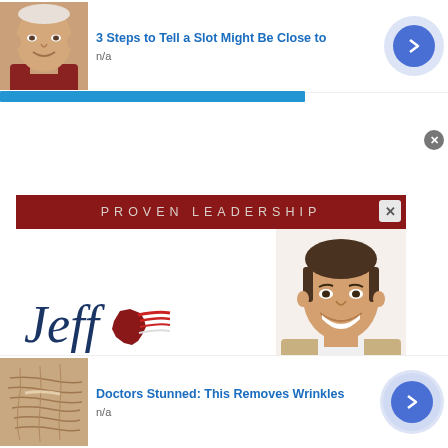[Figure (screenshot): Ad banner: thumbnail of older man, title '3 Steps to Tell a Slot Might Be Close to', source 'n/a', blue progress bar, arrow button]
[Figure (screenshot): Jeff Landry political campaign ad with 'PROVEN LEADERSHIP' header in dark red, Jeff Landry name in large navy text with Louisiana logo and American flag stripes, photo of smiling man in suit on right]
[Figure (screenshot): Ad banner: thumbnail of wrinkled skin, title 'Doctors Stunned: This Removes Wrinkles', source 'n/a', arrow button]